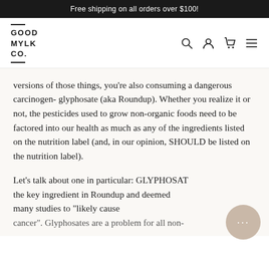Free shipping on all orders over $100!
[Figure (logo): Good Mylk Co. logo with navigation icons (search, account, cart, menu)]
versions of those things, you’re also consuming a dangerous carcinogen- glyphosate (aka Roundup). Whether you realize it or not, the pesticides used to grow non-organic foods need to be factored into our health as much as any of the ingredients listed on the nutrition label (and, in our opinion, SHOULD be listed on the nutrition label).
Let’s talk about one in particular: GLYPHOSATE, the key ingredient in Roundup and deemed by many studies to “likely cause cancer”. Glyphosates are a problem for all non-